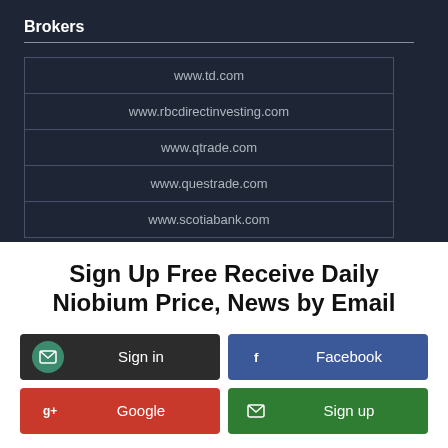Brokers
| www.td.com |
| www.rbcdirectinvesting.com |
| www.qtrade.com |
| www.questrade.com |
| www.scotiabank.com |
Sign Up Free Receive Daily Niobium Price, News by Email
Sign in
Facebook
Google
Sign up